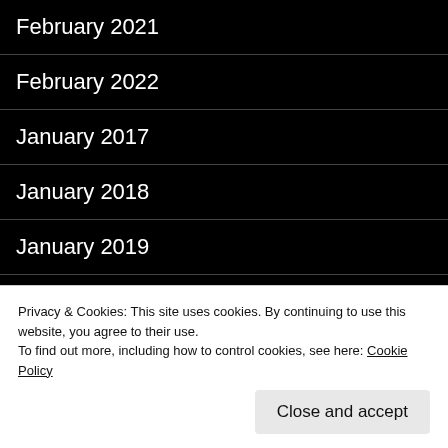February 2021
February 2022
January 2017
January 2018
January 2019
January 2020
January 2021
January 2022
July 2017
Privacy & Cookies: This site uses cookies. By continuing to use this website, you agree to their use.
To find out more, including how to control cookies, see here: Cookie Policy
Close and accept